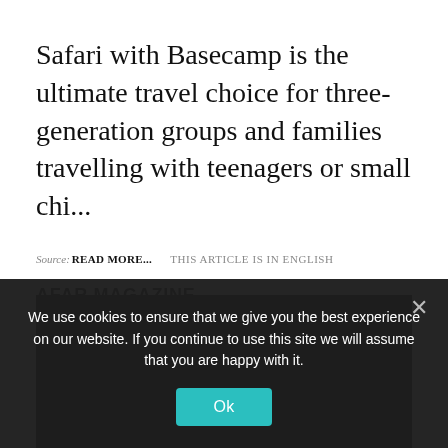Safari with Basecamp is the ultimate travel choice for three-generation groups and families travelling with teenagers or small chi...
Source: READ MORE...    THIS ARTICLE IS IN ENGLISH
AFAR MAGAZINE
[Figure (photo): Black image area (content not visible)]
We use cookies to ensure that we give you the best experience on our website. If you continue to use this site we will assume that you are happy with it.